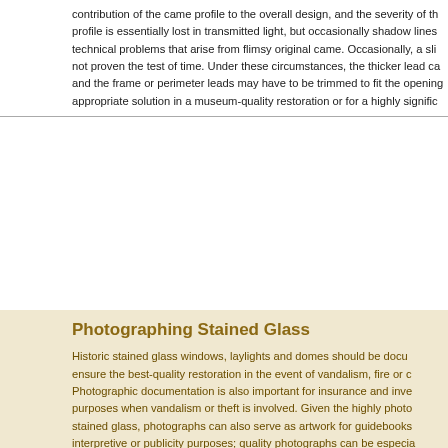contribution of the came profile to the overall design, and the severity of the profile is essentially lost in transmitted light, but occasionally shadow lines technical problems that arise from flimsy original came. Occasionally, a sli not proven the test of time. Under these circumstances, the thicker lead ca and the frame or perimeter leads may have to be trimmed to fit the opening appropriate solution in a museum-quality restoration or for a highly signific
Photographing Stained Glass
Historic stained glass windows, laylights and domes should be docu ensure the best-quality restoration in the event of vandalism, fire or c Photographic documentation is also important for insurance and inve purposes when vandalism or theft is involved. Given the highly photo stained glass, photographs can also serve as artwork for guidebooks interpretive or publicity purposes; quality photographs can be especia in fundraising efforts.

Photographing stained glass is both challenging and rewarding. Win domes lit by daylight can seem to be ever changing in visual appea appear dramatically different in any given photograph depending not photographic equipment and settings used, but also on the time of d cloud cover, the ambient interior light, and a multitude of other facto photographs may differ depending on the aspect to be captured.